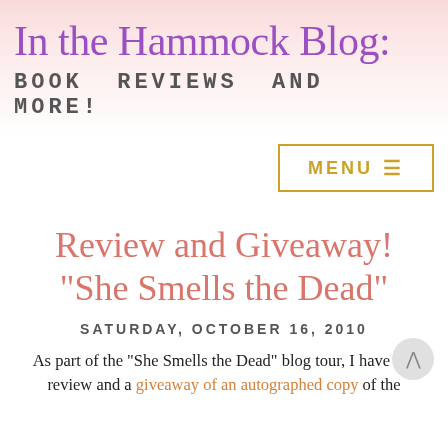In the Hammock Blog:
BOOK REVIEWS AND MORE!
[Figure (other): Menu button with golden border and hamburger icon]
Review and Giveaway! "She Smells the Dead"
SATURDAY, OCTOBER 16, 2010
As part of the "She Smells the Dead" blog tour, I have my review and a giveaway of an autographed copy of the